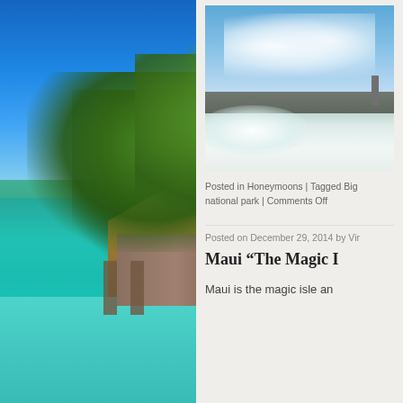[Figure (photo): Tropical overwater bungalow with thatched roof surrounded by palm trees, set over clear turquoise and teal water. Blue sky above.]
[Figure (photo): Coastal scene with blue sky and white clouds, dark volcanic rocky coastline in the distance, white surf/waves in the foreground.]
Posted in Honeymoons | Tagged Big national park | Comments Off
Posted on December 29, 2014 by Vir
Maui “The Magic I
Maui is the magic isle an